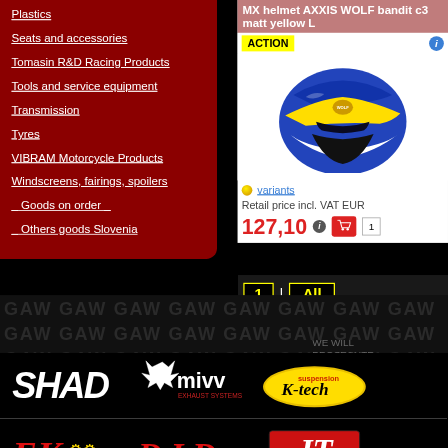Plastics
Seats and accessories
Tomasin R&D Racing Products
Tools and service equipment
Transmission
Tyres
VIBRAM Motorcycle Products
Windscreens, fairings, spoilers
Goods on order
Others goods Slovenia
MX helmet AXXIS WOLF bandit c3 matt yellow L
[Figure (photo): MX helmet AXXIS WOLF bandit c3 matt yellow L - blue/yellow/white motocross helmet product photo with ACTION badge]
variants
Retail price incl. VAT EUR
127,10
1
1 | All
[Figure (logo): SHAD logo - white italic text on black background]
[Figure (logo): MIVV exhaust logo with wolf head graphic]
[Figure (logo): K-tech logo in yellow oval]
[Figure (logo): EK chain logo in red]
[Figure (logo): D.I.D chain logo in red/white]
[Figure (logo): JT sprockets logo]